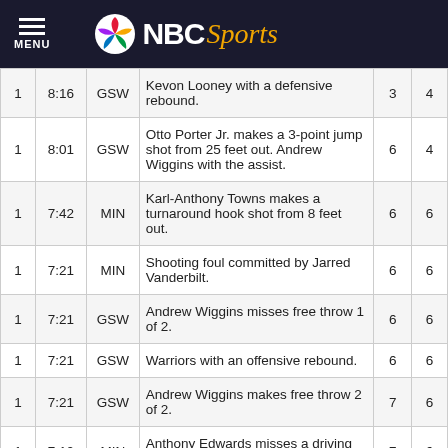NBC Sports
| Qtr | Time | Team | Description | GSW | MIN |
| --- | --- | --- | --- | --- | --- |
| 1 | 8:16 | GSW | Kevon Looney with a defensive rebound. | 3 | 4 |
| 1 | 8:01 | GSW | Otto Porter Jr. makes a 3-point jump shot from 25 feet out. Andrew Wiggins with the assist. | 6 | 4 |
| 1 | 7:42 | MIN | Karl-Anthony Towns makes a turnaround hook shot from 8 feet out. | 6 | 6 |
| 1 | 7:21 | MIN | Shooting foul committed by Jarred Vanderbilt. | 6 | 6 |
| 1 | 7:21 | GSW | Andrew Wiggins misses free throw 1 of 2. | 6 | 6 |
| 1 | 7:21 | GSW | Warriors with an offensive rebound. | 6 | 6 |
| 1 | 7:21 | GSW | Andrew Wiggins makes free throw 2 of 2. | 7 | 6 |
| 1 | 7:10 | MIN | Anthony Edwards misses a driving finger roll layup. | 7 | 6 |
| 1 | 7:08 | GSW | Kevon Looney with a defensive rebound. | 7 | 6 |
| 1 | 6:57 | GSW | Jordan Poole makes a 3-point jump shot from 28 feet out. Kevon Looney with the assist. | 10 | 6 |
| 1 |  |  | Patrick Beverley makes a turnaround hook shot |  |  |